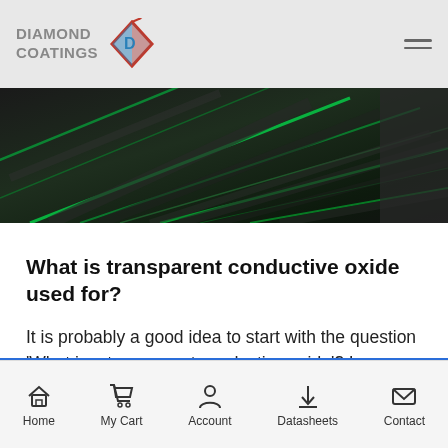DIAMOND COATINGS
[Figure (photo): Close-up photo of coated surfaces with green and blue diagonal light reflections on dark background]
What is transparent conductive oxide used for?
It is probably a good idea to start with the question 'What is a transparent conductive oxide'? In abbreviated form, it is known as a TCO, a transparent conductive oxide can be deposited
Home  My Cart  Account  Datasheets  Contact